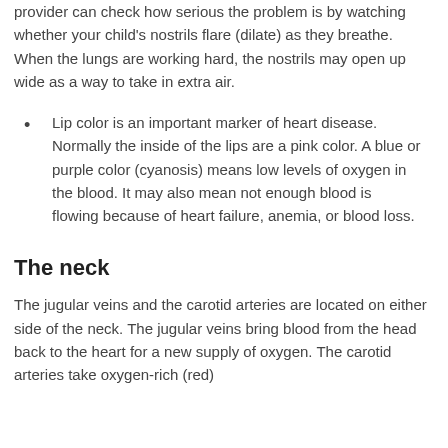provider can check how serious the problem is by watching whether your child's nostrils flare (dilate) as they breathe. When the lungs are working hard, the nostrils may open up wide as a way to take in extra air.
Lip color is an important marker of heart disease. Normally the inside of the lips are a pink color. A blue or purple color (cyanosis) means low levels of oxygen in the blood. It may also mean not enough blood is flowing because of heart failure, anemia, or blood loss.
The neck
The jugular veins and the carotid arteries are located on either side of the neck. The jugular veins bring blood from the head back to the heart for a new supply of oxygen. The carotid arteries take oxygen-rich (red)